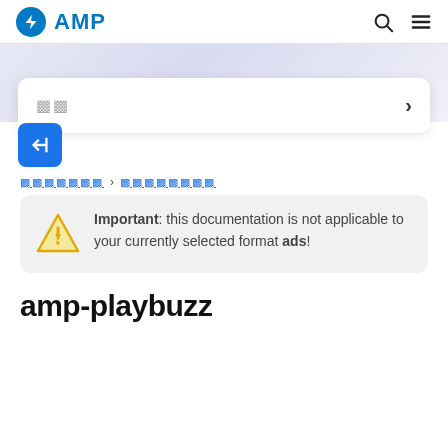AMP
[Figure (screenshot): AMP documentation webpage screenshot showing search bar, collapse button, breadcrumb navigation, warning box, and page title amp-playbuzz]
Important: this documentation is not applicable to your currently selected format ads!
amp-playbuzz